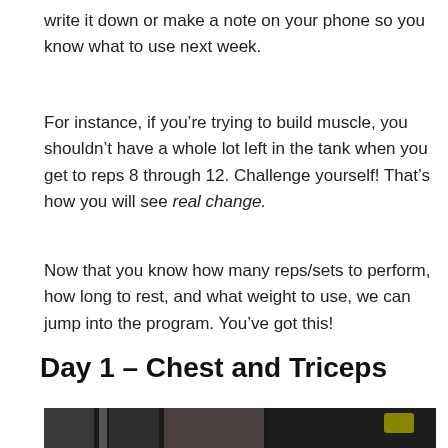write it down or make a note on your phone so you know what to use next week.
For instance, if you’re trying to build muscle, you shouldn’t have a whole lot left in the tank when you get to reps 8 through 12. Challenge yourself! That’s how you will see real change.
Now that you know how many reps/sets to perform, how long to rest, and what weight to use, we can jump into the program. You’ve got this!
Day 1 – Chest and Triceps
[Figure (photo): A photo showing a gym or workout scene, partially visible at the bottom of the page, dark toned image showing exercise equipment or a person working out.]